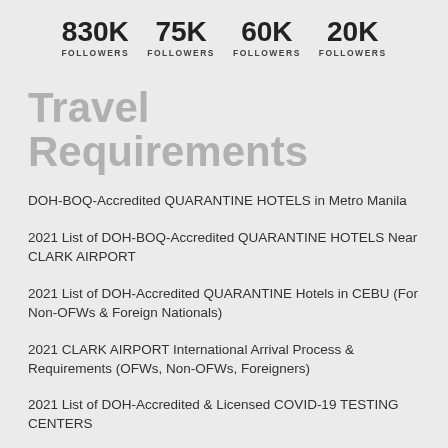830K FOLLOWERS  75K FOLLOWERS  60K FOLLOWERS  20K FOLLOWERS
Travel Requirements
DOH-BOQ-Accredited QUARANTINE HOTELS in Metro Manila
2021 List of DOH-BOQ-Accredited QUARANTINE HOTELS Near CLARK AIRPORT
2021 List of DOH-Accredited QUARANTINE Hotels in CEBU (For Non-OFWs & Foreign Nationals)
2021 CLARK AIRPORT International Arrival Process & Requirements (OFWs, Non-OFWs, Foreigners)
2021 List of DOH-Accredited & Licensed COVID-19 TESTING CENTERS